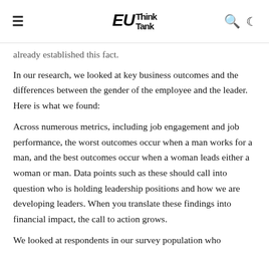EU Think Tank
already established this fact.
In our research, we looked at key business outcomes and the differences between the gender of the employee and the leader.  Here is what we found:
Across numerous metrics, including job engagement and job performance, the worst outcomes occur when a man works for a man, and the best outcomes occur when a woman leads either a woman or man. Data points such as these should call into question who is holding leadership positions and how we are developing leaders. When you translate these findings into financial impact, the call to action grows.
We looked at respondents in our survey population who